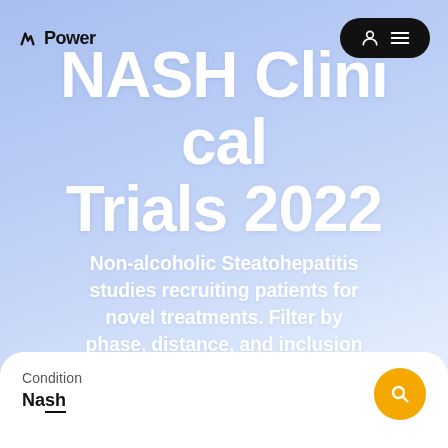Power NASH Clinical Trials 2022
NASH Clinical Trials 2022
Non-alcoholic Steatohepatitis studies recruiting patients for novel treatments. Filter by phase, distance, and inclusion criteria to find your perfect nash clinical trial in 2022.
Condition